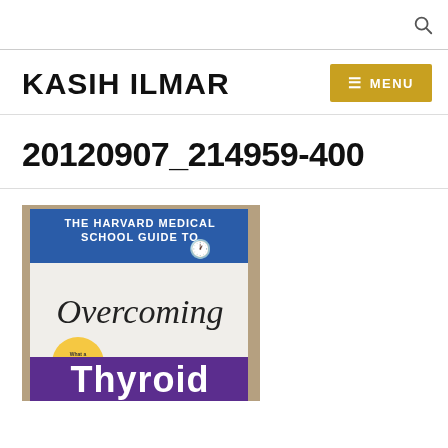KASIH ILMAR
20120907_214959-400
[Figure (photo): Book cover of 'The Harvard Medical School Guide to Overcoming Thyroid' — white and purple cover, partially visible.]